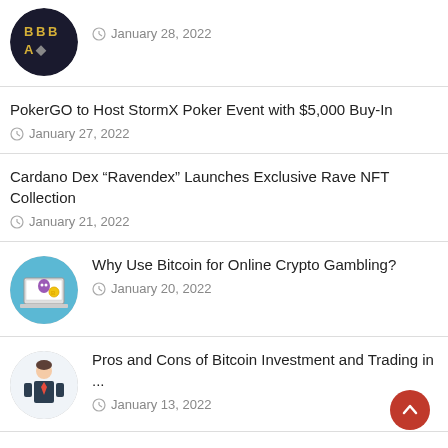January 28, 2022
PokerGO to Host StormX Poker Event with $5,000 Buy-In — January 27, 2022
Cardano Dex “Ravendex” Launches Exclusive Rave NFT Collection — January 21, 2022
Why Use Bitcoin for Online Crypto Gambling? — January 20, 2022
Pros and Cons of Bitcoin Investment and Trading in ... — January 13, 2022